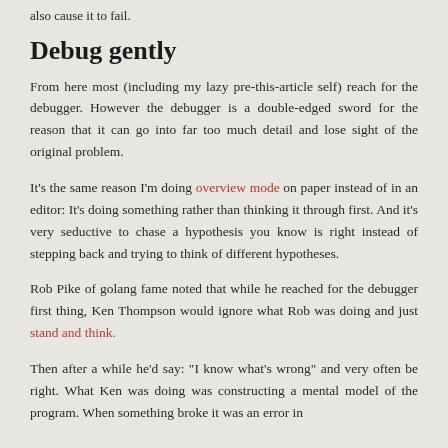also cause it to fail.
Debug gently
From here most (including my lazy pre-this-article self) reach for the debugger. However the debugger is a double-edged sword for the reason that it can go into far too much detail and lose sight of the original problem.
It's the same reason I'm doing overview mode on paper instead of in an editor: It's doing something rather than thinking it through first. And it's very seductive to chase a hypothesis you know is right instead of stepping back and trying to think of different hypotheses.
Rob Pike of golang fame noted that while he reached for the debugger first thing, Ken Thompson would ignore what Rob was doing and just stand and think.
Then after a while he'd say: "I know what's wrong" and very often be right. What Ken was doing was constructing a mental model of the program. When something broke it was an error in